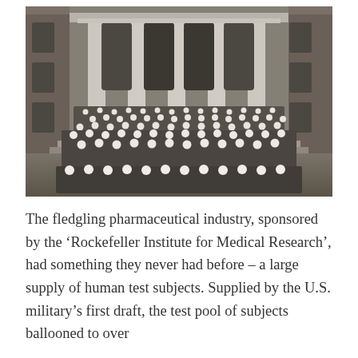[Figure (photo): Black and white historical photograph of a large group of soldiers or military personnel wearing white face masks, posed in rows in front of a large brick building with tall white columns and arched windows.]
The fledgling pharmaceutical industry, sponsored by the ‘Rockefeller Institute for Medical Research’, had something they never had before – a large supply of human test subjects. Supplied by the U.S. military’s first draft, the test pool of subjects ballooned to over